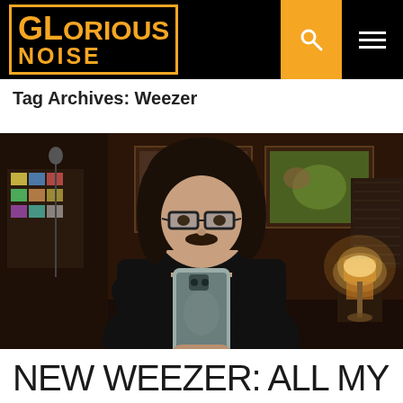Glorious Noise
Tag Archives: Weezer
[Figure (photo): A person with dark hair, glasses, and a mustache wearing a black turtleneck, taking a selfie with a smartphone in what appears to be a music studio or creative workspace with posters and artwork on the walls and a warm lamp in the background.]
NEW WEEZER: ALL MY